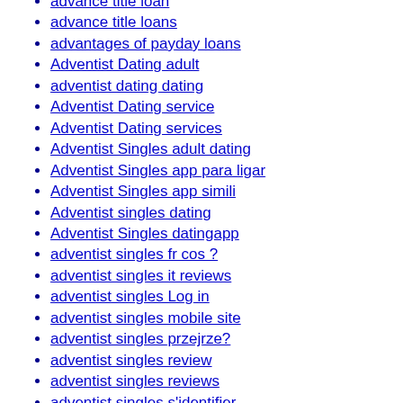advance title loan
advance title loans
advantages of payday loans
Adventist Dating adult
adventist dating dating
Adventist Dating service
Adventist Dating services
Adventist Singles adult dating
Adventist Singles app para ligar
Adventist Singles app simili
Adventist singles dating
Adventist Singles datingapp
adventist singles fr cos ?
adventist singles it reviews
adventist singles Log in
adventist singles mobile site
adventist singles przejrze?
adventist singles review
adventist singles reviews
adventist singles s'identifier
adventist singles support
adventist singles username
adventist singles visitors
adventist-dating-de kosten